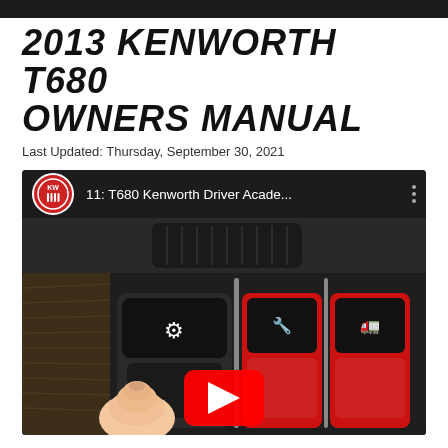2013 KENWORTH T680 OWNERS MANUAL
Last Updated: Thursday, September 30, 2021
[Figure (screenshot): YouTube video thumbnail showing '11: T680 Kenworth Driver Acade...' with a Kenworth logo circle icon on the left, three-dot menu on the right, and a video frame below showing a hand pressing a button on a truck dashboard panel with black and red illuminated rocker switches. A red YouTube play button is centered over the video frame.]